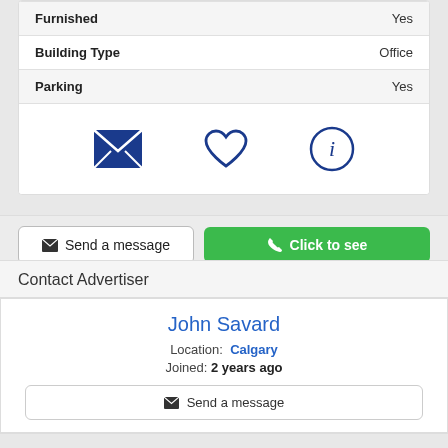| Property | Value |
| --- | --- |
| Furnished | Yes |
| Building Type | Office |
| Parking | Yes |
[Figure (infographic): Three icons: envelope (send message), heart (favourite), info circle (information)]
Send a message
Click to see
Contact Advertiser
John Savard
Location: Calgary
Joined: 2 years ago
Send a message